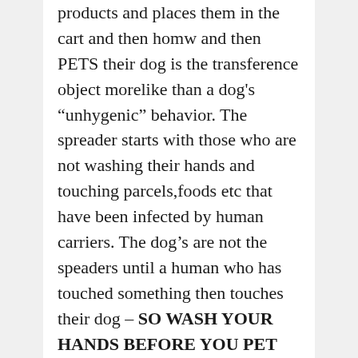products and places them in the cart and then homw and then PETS their dog is the transference object morelike than a dog's "unhygenic" behavior. The spreader starts with those who are not washing their hands and touching parcels,foods etc that have been infected by human carriers. The dog's are not the speaders until a human who has touched something then touches their dog – SO WASH YOUR HANDS BEFORE YOU PET YOUR DOGS. IF you let other people pet your dog – REINFORCE hand washing by insisting that everyone wash their hands before doing so. THe dog is passive – humans are not in this instance. I think the authors were really mad that kids could not play in playgrounds whilst dogs